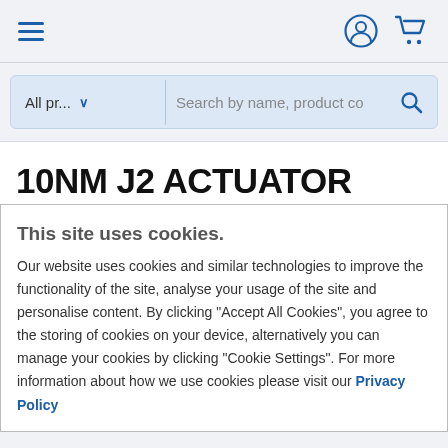Navigation bar with hamburger menu, user icon, and cart icon
All pr... ∨   Search by name, product co 🔍
10NM J2 ACTUATOR LOW VOLTAGE 24VDC/VAC
This site uses cookies.
Our website uses cookies and similar technologies to improve the functionality of the site, analyse your usage of the site and personalise content. By clicking "Accept All Cookies", you agree to the storing of cookies on your device, alternatively you can manage your cookies by clicking "Cookie Settings". For more information about how we use cookies please visit our Privacy Policy